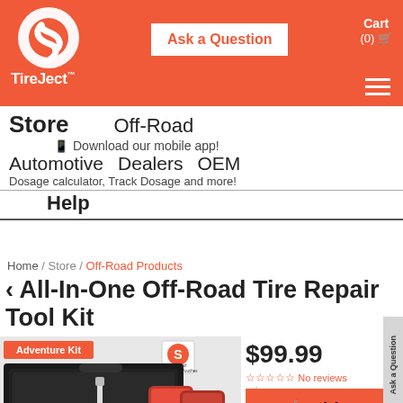[Figure (logo): TireJect logo — white stylized tire icon on orange/red background with TireJect wordmark below]
Ask a Question
Cart (0)
Store   Off-Road
📱 Download our mobile app!
Automotive   Dealers   OEM
Dosage calculator, Track Dosage and more!
Help
Home / Store / Off-Road Products
< All-In-One Off-Road Tire Repair Tool Kit
[Figure (photo): Adventure Kit product photo showing black carry case open with tire repair tools, and two red TireJect 2x10oz Tire Sealant Pouches]
$99.99
☆☆☆☆☆ No reviews
🛒 ✓ In stock 🚚 Free Shipping
🛒 Add to